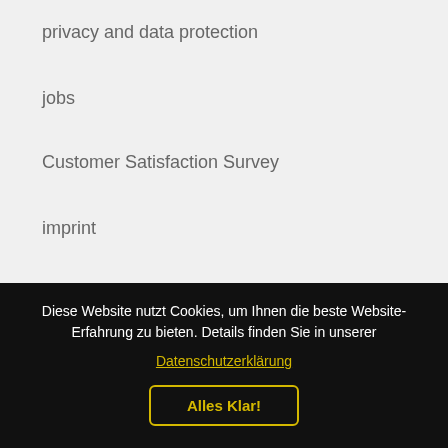privacy and data protection
jobs
Customer Satisfaction Survey
imprint
Did you know...
... that FARBENLÖWE is committed to the
Diese Website nutzt Cookies, um Ihnen die beste Website-Erfahrung zu bieten. Details finden Sie in unserer Datenschutzerklärung
Alles Klar!